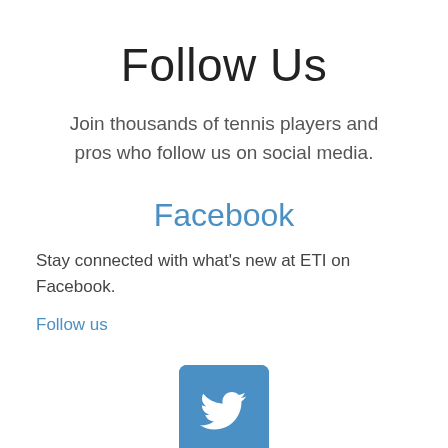Follow Us
Join thousands of tennis players and pros who follow us on social media.
Facebook
Stay connected with what's new at ETI on Facebook.
Follow us
[Figure (logo): Twitter bird logo on a blue rounded square background]
Twitter